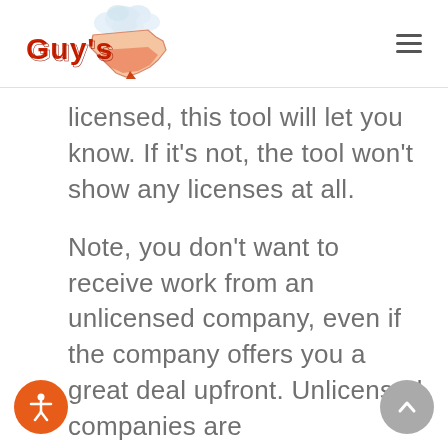Guy's [logo with Texas outline and cloud/smoke illustration]
licensed, this tool will let you know. If it’s not, the tool won’t show any licenses at all.
Note, you don’t want to receive work from an unlicensed company, even if the company offers you a great deal upfront. Unlicensed companies are